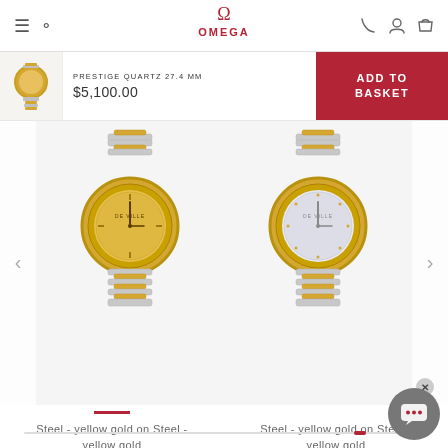OMEGA
PRESTIGE QUARTZ 27.4 MM
$5,100.00
ADD TO BASKET
[Figure (photo): Omega watch - Steel yellow gold on Steel yellow gold, champagne dial, two-tone bracelet, left product]
Steel - yellow gold on Steel - yellow gold
$5,100.00
[Figure (photo): Omega watch - Steel yellow gold on Steel yellow gold, mother of pearl dial with diamonds, two-tone bracelet, right product]
Steel - yellow gold on Steel - yellow gold
$5,900.00